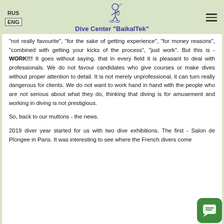RUS | ENG | Dive Center "BaikalTek"
“not really favourite”, “for the sake of getting experience”, “for money reasons”, “combined with getting your kicks of the process”, “just work”. But this is - WORK!!! It goes without saying, that in every field it is pleasant to deal with professionals. We do not favour candidates who give courses or make dives without proper attention to detail. It is not merely unprofessional, it can turn really dangerous for clients. We do not want to work hand in hand with the people who are not serious about what they do, thinking that diving is for amusement and working in diving is not prestigious.
So, back to our muttons - the news.
2019 diver year started for us with two dive exhibitions. The first - Salon de Plongee in Paris. It was interesting to see where the French divers come